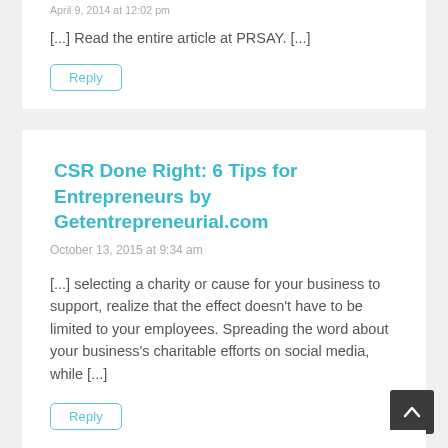April 9, 2014 at 12:02 pm
[...] Read the entire article at PRSAY. [...]
Reply
CSR Done Right: 6 Tips for Entrepreneurs by Getentrepreneurial.com
October 13, 2015 at 9:34 am
[...] selecting a charity or cause for your business to support, realize that the effect doesn't have to be limited to your employees. Spreading the word about your business's charitable efforts on social media, while [...]
Reply